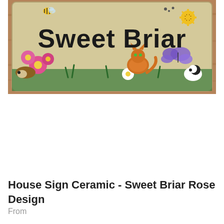[Figure (photo): A ceramic house sign reading 'Sweet Briar' decorated with colorful painted animals and flowers including a cat, hedgehog, butterfly, bee, and various pink and white flowers on a beige background, mounted on a wooden surface.]
House Sign Ceramic - Sweet Briar Rose Design
From